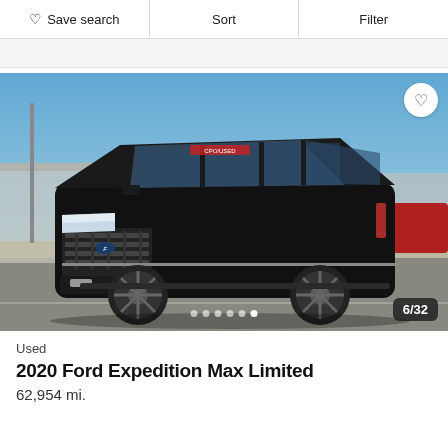Save search | Sort | Filter
[Figure (photo): A black 2020 Ford Expedition Max Limited SUV parked in a lot under a clear blue sky. The windshield has a red and white dealer sticker. The vehicle is photographed from a front-quarter angle. A white building is visible in the background on the left and a red vehicle on the far right. Image counter shows 6/32 with navigation dots at the bottom center.]
Used
2020 Ford Expedition Max Limited
62,954 mi.